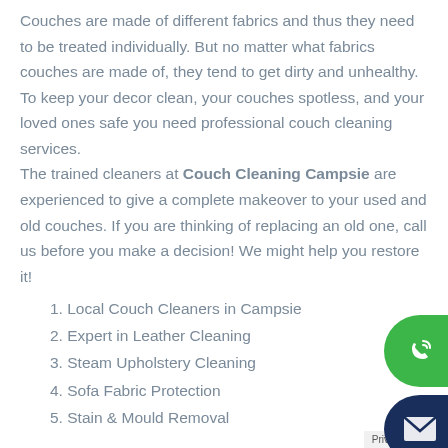Couches are made of different fabrics and thus they need to be treated individually. But no matter what fabrics couches are made of, they tend to get dirty and unhealthy. To keep your decor clean, your couches spotless, and your loved ones safe you need professional couch cleaning services. The trained cleaners at Couch Cleaning Campsie are experienced to give a complete makeover to your used and old couches. If you are thinking of replacing an old one, call us before you make a decision! We might help you restore it!
1. Local Couch Cleaners in Campsie
2. Expert in Leather Cleaning
3. Steam Upholstery Cleaning
4. Sofa Fabric Protection
5. Stain & Mould Removal
[Figure (illustration): Green circular phone/call button on the right side]
[Figure (illustration): Dark navy blue circular email/envelope button on the right side]
Privacy · Terms